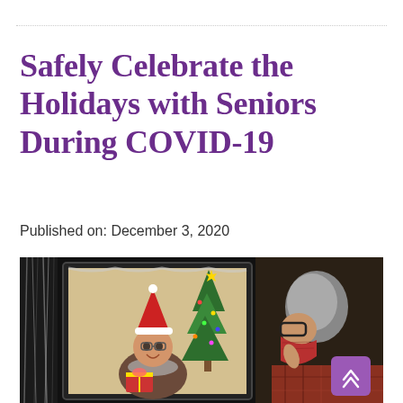Safely Celebrate the Holidays with Seniors During COVID-19
Published on: December 3, 2020
[Figure (photo): An elderly person wearing a red fabric mask looks at a computer monitor showing a video call with an older woman wearing a Santa hat and holding a gift, with a decorated Christmas tree in the background. The scene is framed with silvery tinsel on the left side. A purple scroll-to-top button is visible in the lower right corner.]